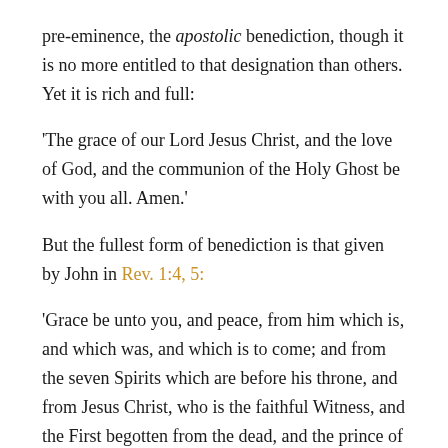pre-eminence, the apostolic benediction, though it is no more entitled to that designation than others. Yet it is rich and full:
'The grace of our Lord Jesus Christ, and the love of God, and the communion of the Holy Ghost be with you all. Amen.'
But the fullest form of benediction is that given by John in Rev. 1:4, 5:
'Grace be unto you, and peace, from him which is, and which was, and which is to come; and from the seven Spirits which are before his throne, and from Jesus Christ, who is the faithful Witness, and the First begotten from the dead, and the prince of the kings of the earth.'
Besides these seventeen forms of blessing, we have in the beginning of ten of Paul's epistles this form of blessing: